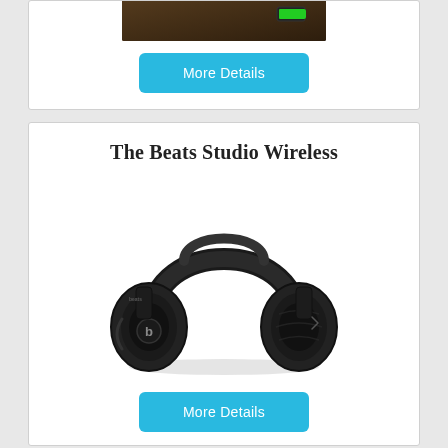[Figure (photo): Partial product card showing a dark device/charger photo at top, clipped]
More Details
The Beats Studio Wireless
[Figure (photo): Black Beats Studio Wireless over-ear headphones on white background]
More Details